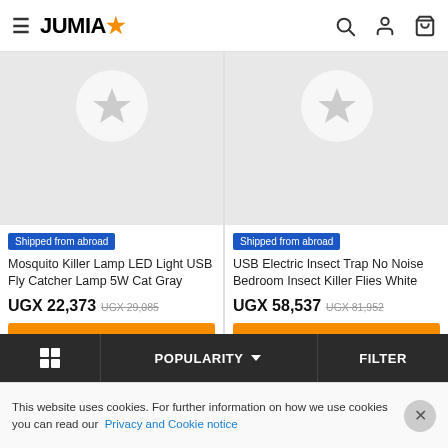JUMIA - e-commerce site header with hamburger menu, logo, search, account, and cart icons
[Figure (screenshot): Product card 1: Mosquito Killer Lamp LED Light USB Fly Catcher Lamp 5W Cat Gray - placeholder image with star badge, Shipped from abroad badge, price UGX 22,373 (was UGX 29,085), ADD TO CART button]
[Figure (screenshot): Product card 2: USB Electric Insect Trap No Noise Bedroom Insect Killer Flies White - placeholder image with star badge, Shipped from abroad badge, price UGX 58,537 (was UGX 81,952), ADD TO CART button]
POPULARITY   FILTER
This website uses cookies. For further information on how we use cookies you can read our Privacy and Cookie notice